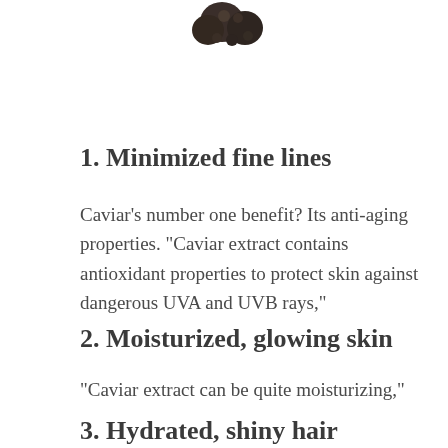[Figure (photo): Partial view of caviar/dark berries at top of page]
1. Minimized fine lines
Caviar’s number one benefit? Its anti-aging properties. “Caviar extract contains antioxidant properties to protect skin against dangerous UVA and UVB rays,”
2. Moisturized, glowing skin
“Caviar extract can be quite moisturizing,”
3. Hydrated, shiny hair